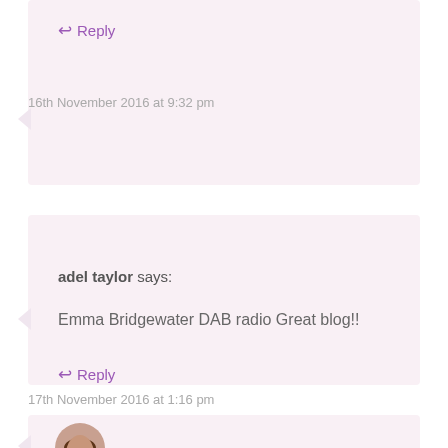↩ Reply
16th November 2016 at 9:32 pm
adel taylor says:
Emma Bridgewater DAB radio Great blog!!
↩ Reply
17th November 2016 at 1:16 pm